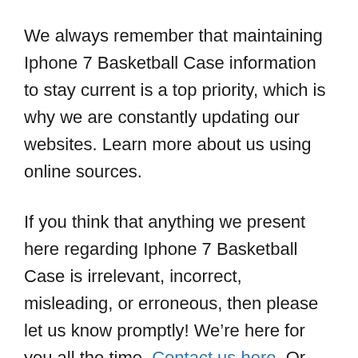We always remember that maintaining Iphone 7 Basketball Case information to stay current is a top priority, which is why we are constantly updating our websites. Learn more about us using online sources.
If you think that anything we present here regarding Iphone 7 Basketball Case is irrelevant, incorrect, misleading, or erroneous, then please let us know promptly! We’re here for you all the time. Contact us here. Or You can also learn about us visiting...